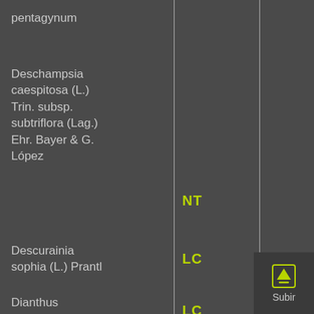pentagynum
Deschampsia caespitosa (L.) Trin. subsp. subtriflora (Lag.) Ehr. Bayer & G. López
NT
Descurainia sophia (L.) Prantl
LC
Dianthus anticarius Boiss. & Reut.
LC